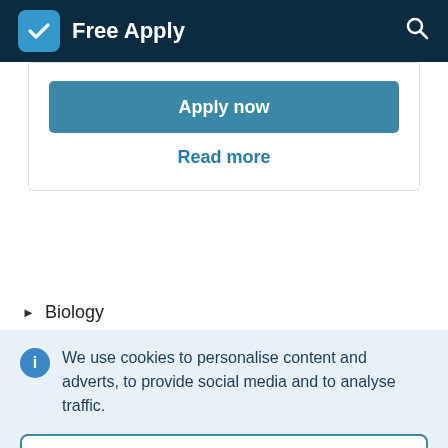Free Apply
Apply now
Read more
Biology
We use cookies to personalise content and adverts, to provide social media and to analyse traffic.
Learn more
Accept